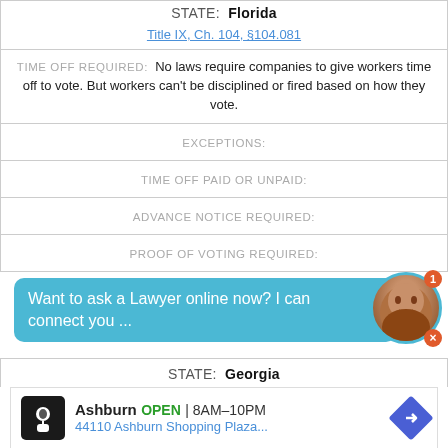STATE: Florida
Title IX, Ch. 104, §104.081
TIME OFF REQUIRED: No laws require companies to give workers time off to vote. But workers can't be disciplined or fired based on how they vote.
EXCEPTIONS:
TIME OFF PAID OR UNPAID:
ADVANCE NOTICE REQUIRED:
PROOF OF VOTING REQUIRED:
Want to ask a Lawyer online now? I can connect you ...
STATE: Georgia
Ashburn OPEN 8AM–10PM 44110 Ashburn Shopping Plaza...